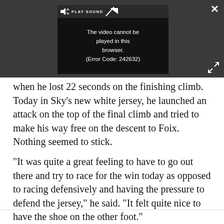[Figure (screenshot): Video player showing error message: 'The video cannot be played in this browser. (Error Code: 242632)' with PLAY SOUND button, close (X) button, and expand button. Dark grey background.]
when he lost 22 seconds on the finishing climb. Today in Sky's new white jersey, he launched an attack on the top of the final climb and tried to make his way free on the descent to Foix. Nothing seemed to stick.
"It was quite a great feeling to have to go out there and try to race for the win today as opposed to racing defensively and having the pressure to defend the jersey," he said. "It felt quite nice to have the shoe on the other foot."